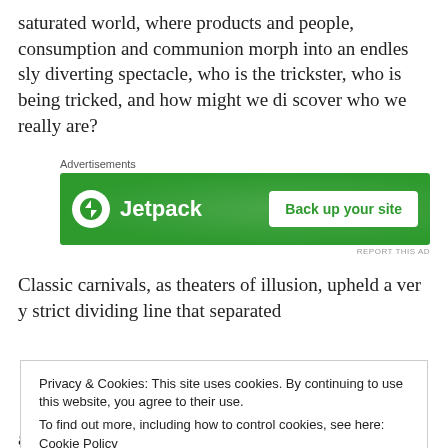saturated world, where products and people, consumption and communion morph into an endlessly diverting spectacle, who is the trickster, who is being tricked, and how might we discover who we really are?
[Figure (screenshot): Jetpack advertisement banner with green background. Shows Jetpack logo and icon on left, 'Back up your site' white button on right. 'Advertisements' label above and 'REPORT THIS AD' below.]
Classic carnivals, as theaters of illusion, upheld a very strict dividing line that separated
Privacy & Cookies: This site uses cookies. By continuing to use this website, you agree to their use.
To find out more, including how to control cookies, see here: Cookie Policy
as by an act of magic: through the alchemy of interac